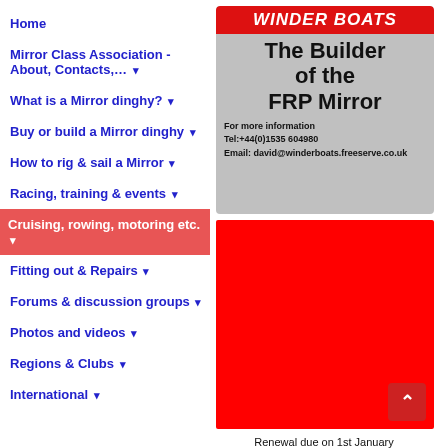Home
Mirror Class Association - About, Contacts,… ▾
What is a Mirror dinghy? ▾
Buy or build a Mirror dinghy ▾
How to rig & sail a Mirror ▾
Racing, training & events ▾
Cruising, rowing, motoring etc. ▾
Fitting out & Repairs ▾
Forums & discussion groups ▾
Photos and videos ▾
Regions & Clubs ▾
International ▾
[Figure (illustration): Winder Boats advertisement: red header with 'WINDER BOATS' text, grey background with 'The Builder of the FRP Mirror' in bold black, contact info 'For more information Tel:+44(0)1535 604980 Email: david@winderboats.freeserve.co.uk']
[Figure (illustration): Solid red rectangle block with dark red scroll-to-top button in the bottom right corner]
Renewal due on 1st January